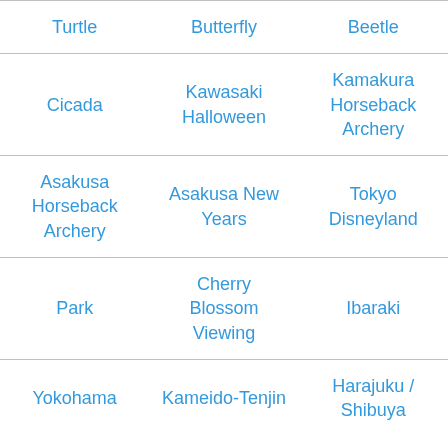| Turtle | Butterfly | Beetle |
| Cicada | Kawasaki Halloween | Kamakura Horseback Archery |
| Asakusa Horseback Archery | Asakusa New Years | Tokyo Disneyland |
| Park | Cherry Blossom Viewing | Ibaraki |
| Yokohama | Kameido-Tenjin | Harajuku / Shibuya |